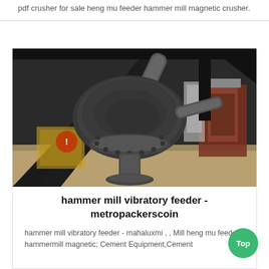pdf crusher for sale heng mu feeder hammer mill magnetic crusher.
[Figure (photo): Industrial machinery photo showing the underside of a large cast iron hammer mill or crusher mechanism, with heavy metal components, flanged connections, a pipe leading upward, and structural steel framing. Industrial facility visible in background.]
hammer mill vibratory feeder - metropackerscoin
hammer mill vibratory feeder - mahaluxmi , , Mill heng mu feeder hammermill magnetic; Cement Equipment,Cement